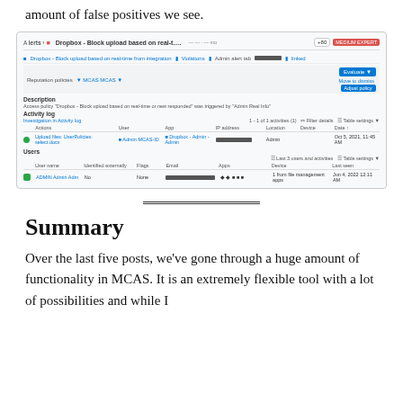amount of false positives we see.
[Figure (screenshot): Screenshot of a Microsoft MCAS alert page showing 'Dropbox - Block upload based on real-t...' alert with activity log, description, and users sections.]
Summary
Over the last five posts, we've gone through a huge amount of functionality in MCAS. It is an extremely flexible tool with a lot of possibilities and while I